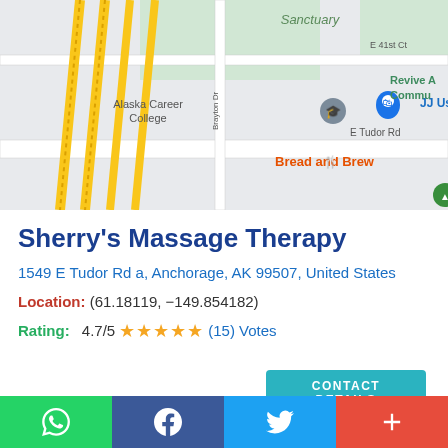[Figure (map): Google Maps screenshot showing area around 1549 E Tudor Rd, Anchorage, AK. Shows Alaska Career College, JJ Used Furniture, Bread and Brew, Revive Community (partial), streets including E 41st Ct, Grape Pl, MacInnes Street, Warwick Dr, S Salem, Brayton Dr, E Tudor Rd. Yellow highway lines visible on left.]
Sherry's Massage Therapy
1549 E Tudor Rd a, Anchorage, AK 99507, United States
Location: (61.18119, −149.854182)
Rating: 4.7/5 ★★★★★ (15) Votes
CONTACT DETAILS